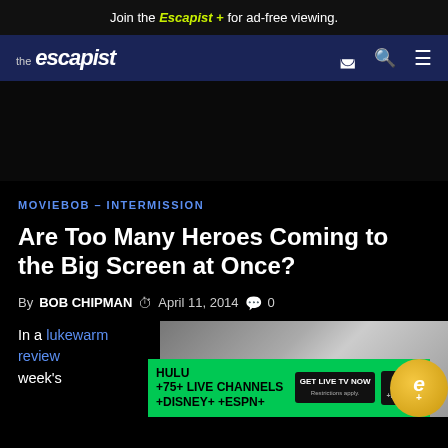Join the Escapist + for ad-free viewing.
[Figure (logo): The Escapist website navigation bar with logo and icons]
[Figure (other): Dark advertisement space placeholder]
MOVIEBOB – INTERMISSION
Are Too Many Heroes Coming to the Big Screen at Once?
By BOB CHIPMAN  April 11, 2014  0
In a lukewarm review week's
[Figure (photo): Article image with partial view of a subject]
[Figure (other): Hulu advertisement banner: HULU +75+ LIVE CHANNELS +DISNEY+ +ESPN+ GET LIVE TV NOW. Restrictions apply.]